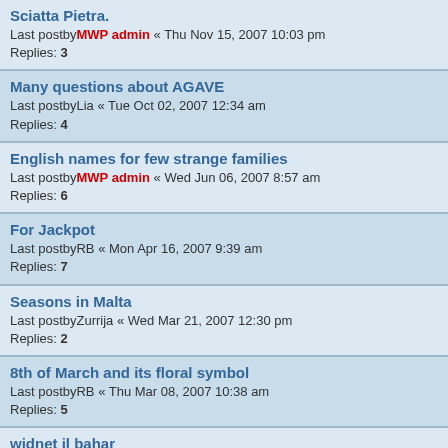Sciatta Pietra.
Last postby MWP admin « Thu Nov 15, 2007 10:03 pm
Replies: 3
Many questions about AGAVE
Last postby Lia « Tue Oct 02, 2007 12:34 am
Replies: 4
English names for few strange families
Last postby MWP admin « Wed Jun 06, 2007 8:57 am
Replies: 6
For Jackpot
Last postby RB « Mon Apr 16, 2007 9:39 am
Replies: 7
Seasons in Malta
Last postby Zurrija « Wed Mar 21, 2007 12:30 pm
Replies: 2
8th of March and its floral symbol
Last postby RB « Thu Mar 08, 2007 10:38 am
Replies: 5
widnet il bahar
Last postby RB « Wed Feb 28, 2007 4:08 pm
Replies: 23
quite good explanations
Last postby Pierre « Wed Feb 14, 2007 11:49 pm
Can anyone disclose sites of Navelwort ?
Last postby MWP admin « Tue Feb 13, 2007 11:48 pm
Replies: 2
Nice places in Gozo for hiking